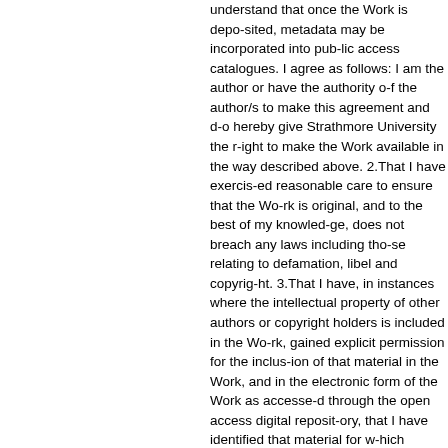understand that once the Work is deposited, metadata may be incorporated into public access catalogues. I agree as follows: I am the author or have the authority of the author/s to make this agreement and do hereby give Strathmore University the right to make the Work available in the way described above. 2.That I have exercised reasonable care to ensure that the Work is original, and to the best of my knowledge, does not breach any laws including those relating to defamation, libel and copyright. 3.That I have, in instances where the intellectual property of other authors or copyright holders is included in the Work, gained explicit permission for the inclusion of that material in the Work, and in the electronic form of the Work as accessed through the open access digital repository, that I have identified that material for which adequate permission has not been obtained and which will be inaccessible via the digital repository. 4.That Strathmore University